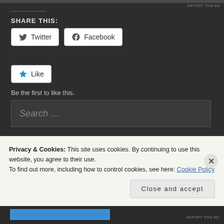[Figure (screenshot): Top advertisement bar, dark gray background]
REPORT THIS AD
SHARE THIS:
[Figure (screenshot): Twitter and Facebook share buttons]
[Figure (screenshot): Like button with star icon]
Be the first to like this.
[Figure (screenshot): Search input box with placeholder 'Search ...']
RECENT COMMENTS
Privacy & Cookies: This site uses cookies. By continuing to use this website, you agree to their use.
To find out more, including how to control cookies, see here: Cookie Policy
[Figure (screenshot): Close and accept button for cookie banner]